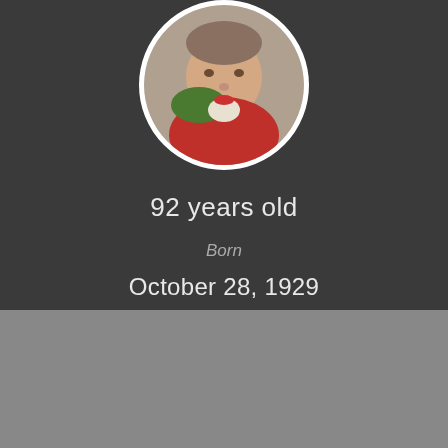[Figure (photo): Circular portrait photo of an elderly woman wearing red and green clothing, with white border]
92 years old
Born
October 28, 1929
Brigg, Lincolnshire, England, UK